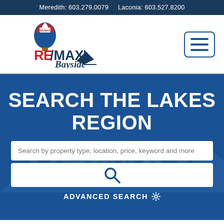Meredith: 603.279.0079    Laconia: 603.527.8200
[Figure (logo): RE/MAX Bayside logo with hot air balloon and sailboat]
SEARCH THE LAKES REGION
Search by property type, location, price, keyword and more
ADVANCED SEARCH